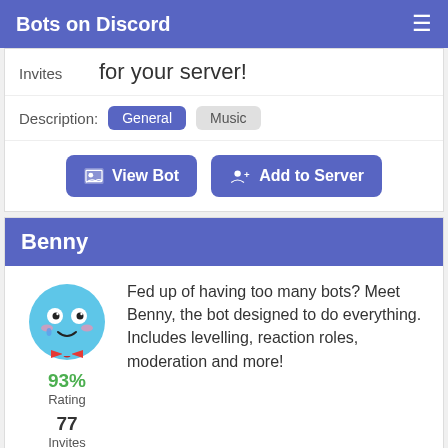Bots on Discord
Invites   for your server!
Description:  General  Music
View Bot  |  Add to Server
Benny
Fed up of having too many bots? Meet Benny, the bot designed to do everything. Includes levelling, reaction roles, moderation and more!
93% Rating
77 Invites
Description:  General  Music